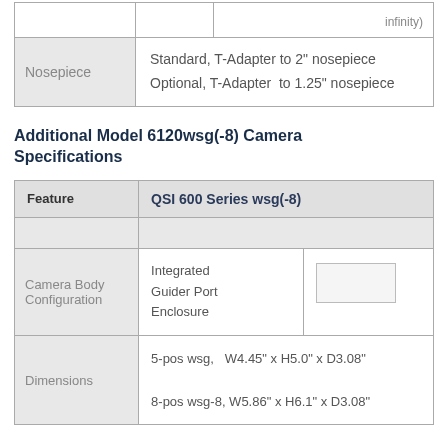|  |  |
| --- | --- |
|  |  |
| Nosepiece | Standard, T-Adapter to 2" nosepiece
Optional, T-Adapter to 1.25" nosepiece |
Additional Model 6120wsg(-8) Camera Specifications
| Feature | QSI 600 Series wsg(-8) |
| --- | --- |
| Camera Body Configuration | Integrated Guider Port Enclosure | [image] |
| Dimensions | 5-pos wsg,  W4.45" x H5.0" x D3.08"
8-pos wsg-8, W5.86" x H6.1" x D3.08" |